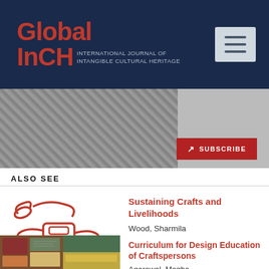Global InCH – International Journal of Intangible Cultural Heritage
[Figure (screenshot): Subscribe banner with black and white fabric/textile image and a red SUBSCRIBE button with arrow]
ALSO SEE
[Figure (illustration): Red line drawing illustration of a stylized vehicle/craft object on white background]
Sustaining Crafts and Livelihoods
Wood, Sharmila
[Figure (photo): Photo of colored fabric swatches and paper notes]
Curriculum for Design Education of Craftspersons
Agarawal, Megha